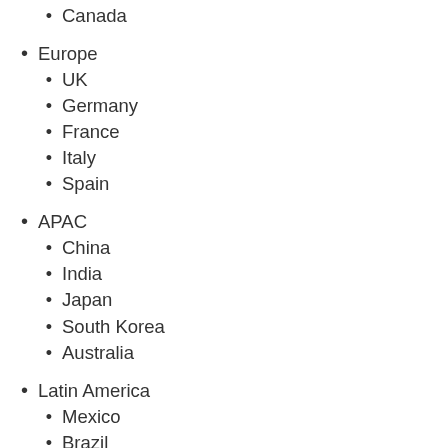Canada
Europe
UK
Germany
France
Italy
Spain
APAC
China
India
Japan
South Korea
Australia
Latin America
Mexico
Brazil
Argentina
Colombia
Middle East & Africa